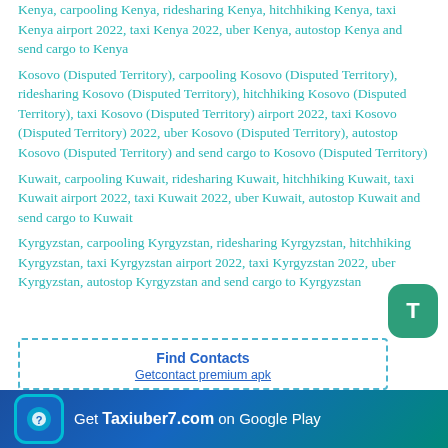Kenya, carpooling Kenya, ridesharing Kenya, hitchhiking Kenya, taxi Kenya airport 2022, taxi Kenya 2022, uber Kenya, autostop Kenya and send cargo to Kenya
Kosovo (Disputed Territory), carpooling Kosovo (Disputed Territory), ridesharing Kosovo (Disputed Territory), hitchhiking Kosovo (Disputed Territory), taxi Kosovo (Disputed Territory) airport 2022, taxi Kosovo (Disputed Territory) 2022, uber Kosovo (Disputed Territory), autostop Kosovo (Disputed Territory) and send cargo to Kosovo (Disputed Territory)
Kuwait, carpooling Kuwait, ridesharing Kuwait, hitchhiking Kuwait, taxi Kuwait airport 2022, taxi Kuwait 2022, uber Kuwait, autostop Kuwait and send cargo to Kuwait
Kyrgyzstan, carpooling Kyrgyzstan, ridesharing Kyrgyzstan, hitchhiking Kyrgyzstan, taxi Kyrgyzstan airport 2022, taxi Kyrgyzstan 2022, uber Kyrgyzstan, autostop Kyrgyzstan and send cargo to Kyrgyzstan
[Figure (other): Find Contacts box with dashed border containing title 'Find Contacts' and link 'Getcontact premium apk']
[Figure (other): Green rounded rectangle button with letter T]
[Figure (other): Ad banner: Get Taxiuber7.com on Google Play with app icon]